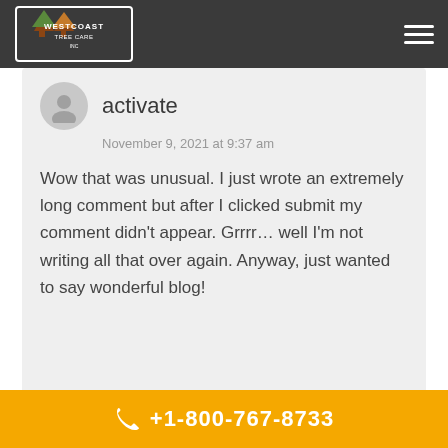Westcoast Tree Care Inc.
activate
November 9, 2021 at 9:37 am
Wow that was unusual. I just wrote an extremely long comment but after I clicked submit my comment didn't appear. Grrrr… well I'm not writing all that over again. Anyway, just wanted to say wonderful blog!
+1-800-767-8733